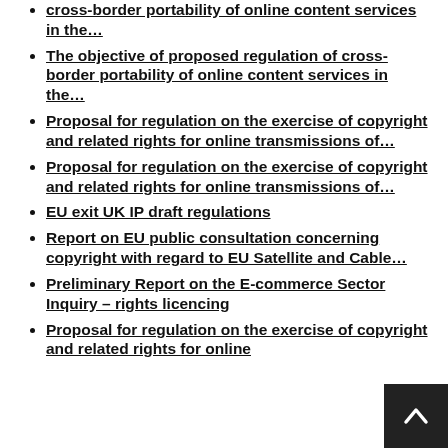cross-border portability of online content services in the…
The objective of proposed regulation of cross-border portability of online content services in the…
Proposal for regulation on the exercise of copyright and related rights for online transmissions of…
Proposal for regulation on the exercise of copyright and related rights for online transmissions of…
EU exit UK IP draft regulations
Report on EU public consultation concerning copyright with regard to EU Satellite and Cable…
Preliminary Report on the E-commerce Sector Inquiry – rights licencing
Proposal for regulation on the exercise of copyright and related rights for online